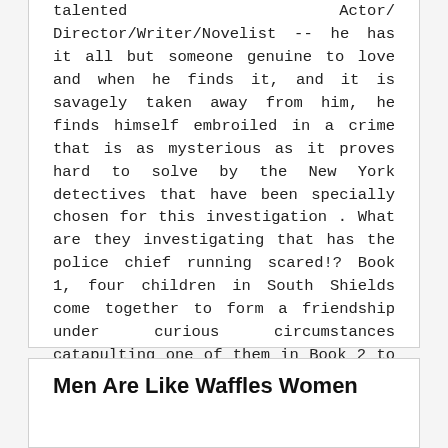talented Actor/ Director/Writer/Novelist -- he has it all but someone genuine to love and when he finds it, and it is savagely taken away from him, he finds himself embroiled in a crime that is as mysterious as it proves hard to solve by the New York detectives that have been specially chosen for this investigation . What are they investigating that has the police chief running scared!? Book 1, four children in South Shields come together to form a friendship under curious circumstances catapulting one of them in Book 2 to live through extraordinary times, played out on a global stage. Book 3, is part of the story 'after the story'. Three literary pieces - ONE NOVEL
Men Are Like Waffles Women